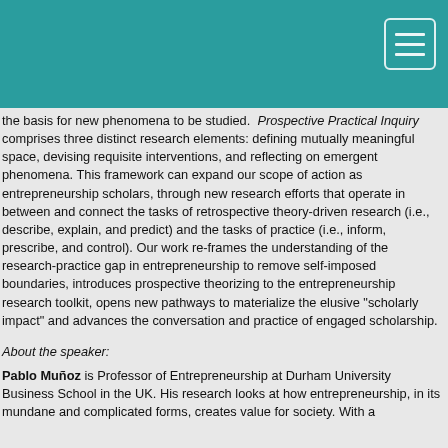[Figure (other): Teal/turquoise header bar with a hamburger menu button (three horizontal lines) in the top-right corner]
the basis for new phenomena to be studied. Prospective Practical Inquiry comprises three distinct research elements: defining mutually meaningful space, devising requisite interventions, and reflecting on emergent phenomena. This framework can expand our scope of action as entrepreneurship scholars, through new research efforts that operate in between and connect the tasks of retrospective theory-driven research (i.e., describe, explain, and predict) and the tasks of practice (i.e., inform, prescribe, and control). Our work re-frames the understanding of the research-practice gap in entrepreneurship to remove self-imposed boundaries, introduces prospective theorizing to the entrepreneurship research toolkit, opens new pathways to materialize the elusive "scholarly impact" and advances the conversation and practice of engaged scholarship.
About the speaker:
Pablo Muñoz is Professor of Entrepreneurship at Durham University Business School in the UK. His research looks at how entrepreneurship, in its mundane and complicated forms, creates value for society. With a